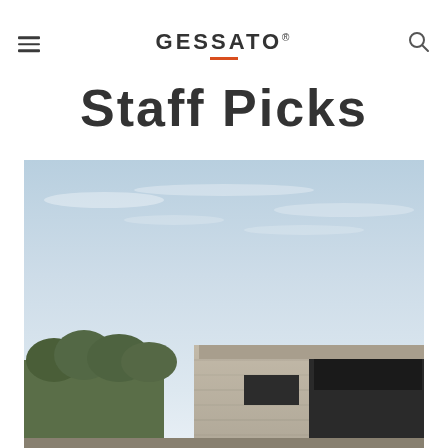GESSATO
Staff Picks
[Figure (photo): Exterior view of a modern concrete residential building with a flat roof, dark-framed windows, and recessed entrance, photographed against a light blue sky with trees visible on the left side.]